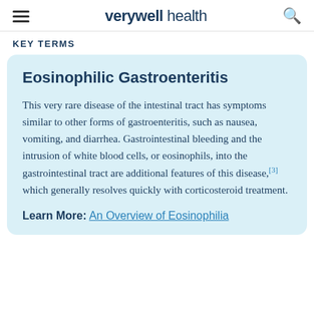verywell health
KEY TERMS
Eosinophilic Gastroenteritis
This very rare disease of the intestinal tract has symptoms similar to other forms of gastroenteritis, such as nausea, vomiting, and diarrhea. Gastrointestinal bleeding and the intrusion of white blood cells, or eosinophils, into the gastrointestinal tract are additional features of this disease,[3] which generally resolves quickly with corticosteroid treatment.
Learn More: An Overview of Eosinophilia